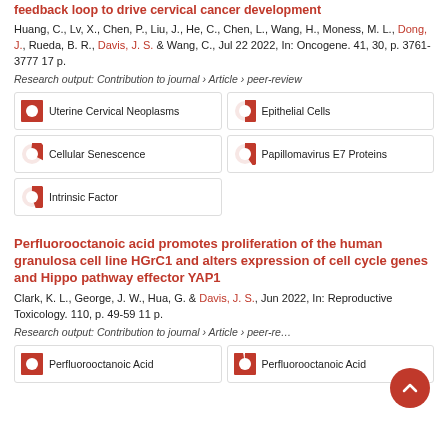feedback loop to drive cervical cancer development
Huang, C., Lv, X., Chen, P., Liu, J., He, C., Chen, L., Wang, H., Moness, M. L., Dong, J., Rueda, B. R., Davis, J. S. & Wang, C., Jul 22 2022, In: Oncogene. 41, 30, p. 3761-3777 17 p.
Research output: Contribution to journal › Article › peer-review
[Figure (infographic): Badge showing 100% Uterine Cervical Neoplasms]
[Figure (infographic): Badge showing 57% Epithelial Cells]
[Figure (infographic): Badge showing 37% Cellular Senescence]
[Figure (infographic): Badge showing 22% Papillomavirus E7 Proteins]
[Figure (infographic): Badge showing 14% Intrinsic Factor]
Perfluorooctanoic acid promotes proliferation of the human granulosa cell line HGrC1 and alters expression of cell cycle genes and Hippo pathway effector YAP1
Clark, K. L., George, J. W., Hua, G. & Davis, J. S., Jun 2022, In: Reproductive Toxicology. 110, p. 49-59 11 p.
Research output: Contribution to journal › Article › peer-review
[Figure (infographic): Badge showing 100% Perfluorooctanoic Acid]
[Figure (infographic): Badge showing 96% Perfluorooctanoic Acid]